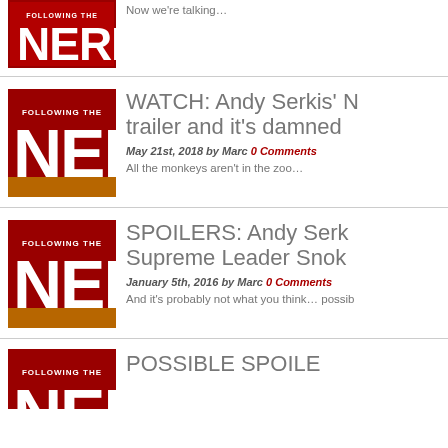[Figure (logo): Following the Nerd logo - red background with white text FOLLOWING THE NERD]
Now we’re talking…
[Figure (logo): Following the Nerd logo - red background with white text FOLLOWING THE NERD]
WATCH: Andy Serkis’ N trailer and it’s damned
May 21st, 2018 by Marc 0 Comments
All the monkeys aren’t in the zoo…
[Figure (logo): Following the Nerd logo - red background with white text FOLLOWING THE NERD]
SPOILERS: Andy Serk Supreme Leader Snok
January 5th, 2016 by Marc 0 Comments
And it’s probably not what you think… possib
[Figure (logo): Following the Nerd logo - red background with white text FOLLOWING THE NERD]
POSSIBLE SPOILE